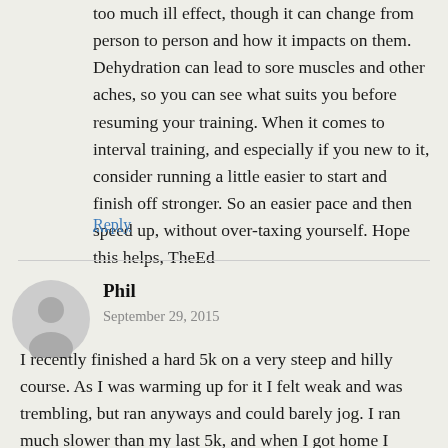too much ill effect, though it can change from person to person and how it impacts on them. Dehydration can lead to sore muscles and other aches, so you can see what suits you before resuming your training. When it comes to interval training, and especially if you new to it, consider running a little easier to start and finish off stronger. So an easier pace and then speed up, without over-taxing yourself. Hope this helps, TheEd
Reply
Phil
September 29, 2015
I recently finished a hard 5k on a very steep and hilly course. As I was warming up for it I felt weak and was trembling, but ran anyways and could barely jog. I ran much slower than my last 5k, and when I got home I urinated dark brown/red urine. After rehydrating, it stopped, but the next day I ran a 6 mile easy run, and stopped during the middle of it and urinated dark red urine or just straight blood. It